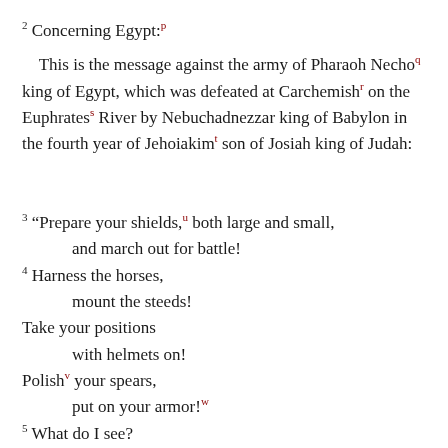2 Concerning Egypt: p
This is the message against the army of Pharaoh Necho q king of Egypt, which was defeated at Carchemish r on the Euphrates s River by Nebuchadnezzar king of Babylon in the fourth year of Jehoiakim t son of Josiah king of Judah:
3 "Prepare your shields, u both large and small, and march out for battle!
4 Harness the horses, mount the steeds!
Take your positions with helmets on!
Polish v your spears, put on your armor! w
5 What do I see? They are terrified,
they are retreating, their warriors are defeated.